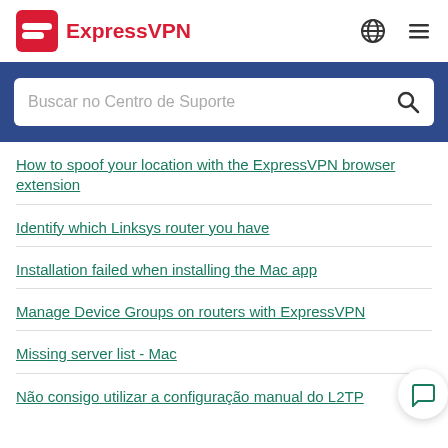ExpressVPN
Buscar no Centro de Suporte
How to spoof your location with the ExpressVPN browser extension
Identify which Linksys router you have
Installation failed when installing the Mac app
Manage Device Groups on routers with ExpressVPN
Missing server list - Mac
Não consigo utilizar a configuração manual do L2TP